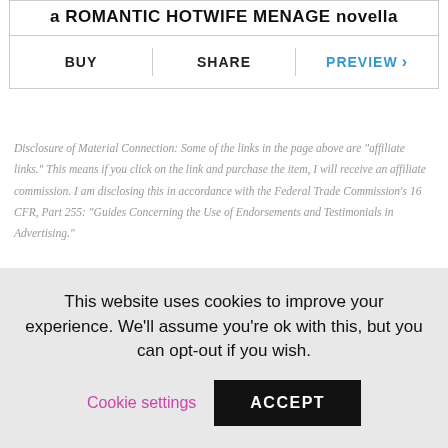a ROMANTIC HOTWIFE MENAGE novella
BUY | SHARE | PREVIEW ›
Disclosure of Material Connection: Some of the links in the page above are "affiliate links." This means if you click on the link and purchase the item, I will receive an affiliate commission. I am disclosing this in accordance with the Federal Trade Commission's 16 CFR, Part 255: "Guides Concerning the Use of Endorsements and Testimonials in Advertising."
This website uses cookies to improve your experience. We'll assume you're ok with this, but you can opt-out if you wish.
Cookie settings
ACCEPT